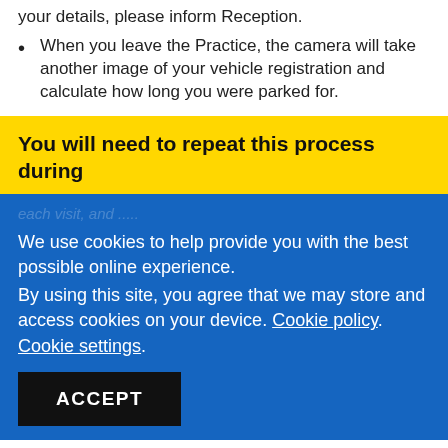your details, please inform Reception.
When you leave the Practice, the camera will take another image of your vehicle registration and calculate how long you were parked for.
You will need to repeat this process during
We use cookies to help provide you with the best possible online experience.
By using this site, you agree that we may store and access cookies on your device. Cookie policy. Cookie settings.
ACCEPT